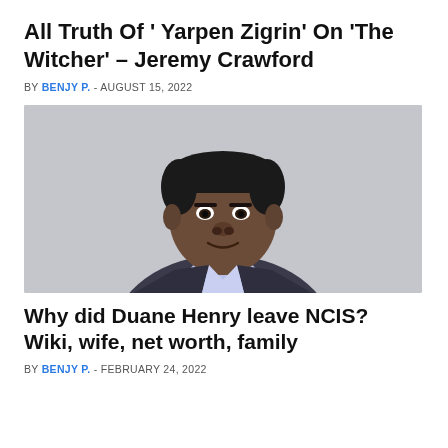All Truth Of ' Yarpen Zigrin' On 'The Witcher' – Jeremy Crawford
BY BENJY P. - AUGUST 15, 2022
[Figure (photo): Portrait photo of a Black man in a dark suit jacket with light blue shirt, against a light grey background. The man has a serious expression and short hair.]
Why did Duane Henry leave NCIS? Wiki, wife, net worth, family
BY BENJY P. - FEBRUARY 24, 2022